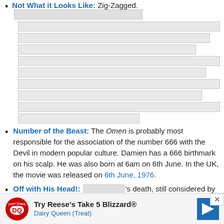Not What it Looks Like: Zig-Zagged. [redacted image block]
Number of the Beast: The Omen is probably most responsible for the association of the number 666 with the Devil in modern popular culture. Damien has a 666 birthmark on his scalp. He was also born at 6am on 6th June. In the UK, the movie was released on 6th June, 1976.
Off with His Head!: [redacted]'s death, still considered by horror buffs to be one of the best deaths of all time
[Figure (infographic): Dairy Queen advertisement banner: Try Reese's Take 5 Blizzard® with DQ logo and navigation arrow icon]